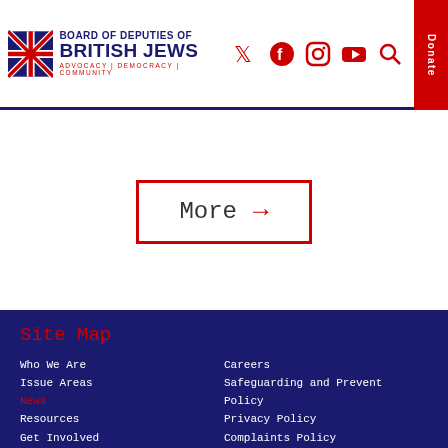Board of Deputies of British Jews — ADVOCACY | DEMOCRACY | COMMUNITY
[Figure (other): More button with red border and red arrow]
Site Map
Who We Are
Issue Areas
News
Resources
Get Involved
Community Briefing
Deputies Area
Contact Us
Careers
Safeguarding and Prevent Policy
Privacy Policy
Complaints Policy
Our Constitution
Deputies Code of Conduct